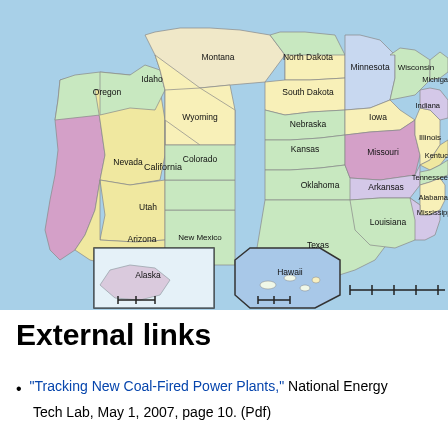[Figure (map): Map of the United States showing state boundaries with states labeled and colored in various pastel colors (pink, green, yellow, purple, orange, blue). Includes insets for Alaska and Hawaii with scale bars. States visible include Oregon, California, Nevada, Idaho, Utah, Arizona, Montana, Wyoming, Colorado, New Mexico, North Dakota, South Dakota, Nebraska, Kansas, Oklahoma, Texas, Minnesota, Iowa, Missouri, Arkansas, Louisiana, Wisconsin, Illinois, Indiana, Michigan, Kentucky, Tennessee, Alabama, Mississippi.]
External links
"Tracking New Coal-Fired Power Plants," National Energy Tech Lab, May 1, 2007, page 10. (Pdf)